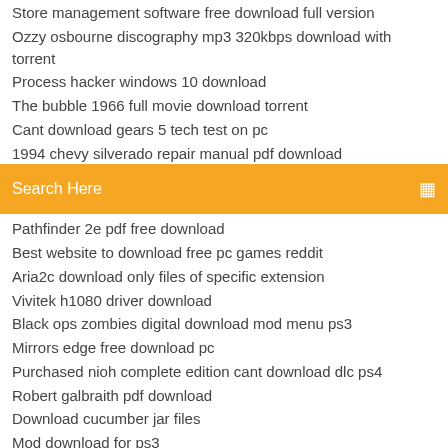Store management software free download full version
Ozzy osbourne discography mp3 320kbps download with torrent
Process hacker windows 10 download
The bubble 1966 full movie download torrent
Cant download gears 5 tech test on pc
1994 chevy silverado repair manual pdf download
Search Here
Pathfinder 2e pdf free download
Best website to download free pc games reddit
Aria2c download only files of specific extension
Vivitek h1080 driver download
Black ops zombies digital download mod menu ps3
Mirrors edge free download pc
Purchased nioh complete edition cant download dlc ps4
Robert galbraith pdf download
Download cucumber jar files
Mod download for ps3